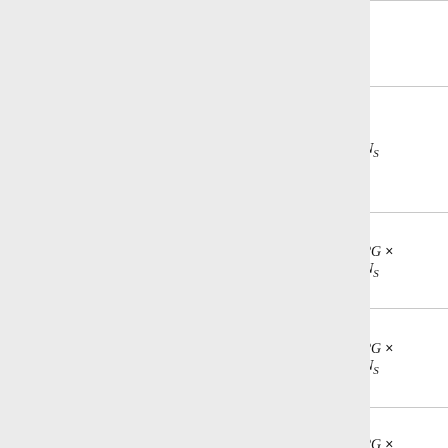| Name | Dimension | Description |
| --- | --- | --- |
|  |  | r |
| DF_CORN_AREA | N_S | A p le th r |
| DF_SURF_IN_CURR | 2G × N_S | In c |
| DF_SURF_OUT_CURR | 2G × N_S | C s c |
| DF_SURF_NET_CURR | 2G × N_S | N c |
| DF_MID_IN_CURR | 2G × N_S | In p |
| DF_MID_OUT_CURR | 2G × N_S | C p |
|  | 2G × | N |